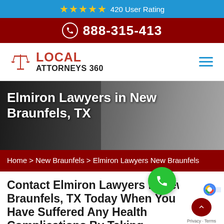★★★★★ 420 User Rating
888-315-413
[Figure (logo): Local Attorneys 360 logo with scales of justice icon]
Elmiron Lawyers in New Braunfels, TX
Home > New Braunfels > Elmiron Lawyers New Braunfels
Contact Elmiron Lawyers in New Braunfels, TX Today When You Have Suffered Any Health Complications By Taking